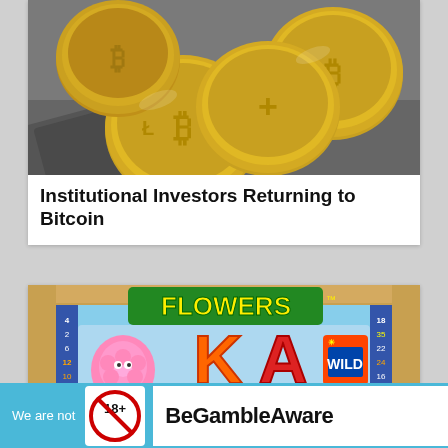[Figure (photo): Photo of gold Bitcoin coins stacked on a surface with a dark background]
Institutional Investors Returning to Bitcoin
[Figure (screenshot): Screenshot of the 'Flowers' slot machine game showing flower symbols, K and A letters, and WILD symbol on a blue background with a wooden frame]
Top 5 Spring Slots
We are not  18+  BeGambleAware